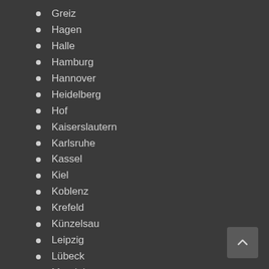Greiz
Hagen
Halle
Hamburg
Hannover
Heidelberg
Hof
Kaiserslautern
Karlsruhe
Kassel
Kiel
Koblenz
Krefeld
Künzelsau
Leipzig
Lübeck
Magdeburg
Main Valley Bicycle Route
Mainz
Mannheim